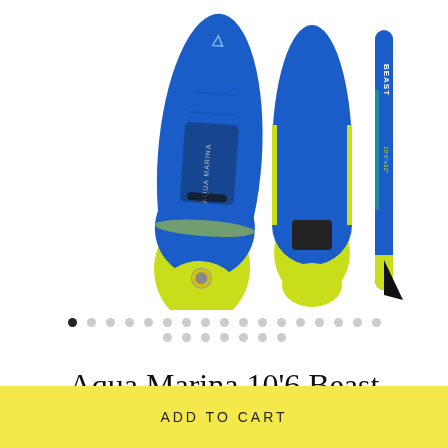[Figure (photo): Aqua Marina Beast inflatable stand-up paddleboard shown from multiple angles: front view showing blue and yellow-green board with Aqua Marina branding, back view showing the bottom with fin, and side view showing the board's thickness. Product is blue and chartreuse/yellow-green colored.]
Carousel navigation dots — one active dot (filled dark) followed by multiple inactive dots (grey) in two rows
Aqua Marina 10'6 Beast
ADD TO CART